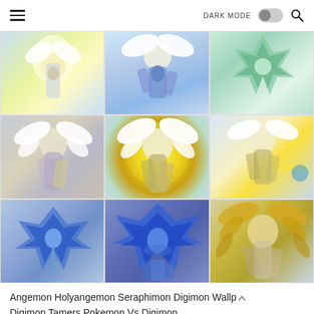DARK MODE [toggle] [search]
[Figure (screenshot): A 3x3 grid of Digimon anime character illustrations showing Angemon, Holyangemon, and Seraphimon characters with wings, in blue, white, yellow, and gold color schemes on light blue backgrounds.]
Angemon Holyangemon Seraphimon Digimon Wallp... Digimon Tamers Pokemon Vs Digimon